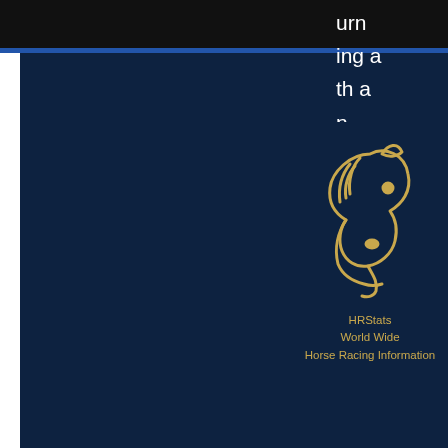[Figure (screenshot): HRStats World Wide Horse Racing Information website screenshot showing logo with golden horse head, navigation hamburger menu, social share icons (Facebook, Twitter, LinkedIn), heart/like icon, Featured Posts section with black background and post thumbnail images, and decorative gold horse logo element on right side.]
urn
ing a
th a
n
g
have
n and l
[Figure (logo): HRStats logo: golden horse head outline on dark navy background square]
HRStats
World Wide
Horse Racing Information
f  Twitter-bird  in
Featured Posts